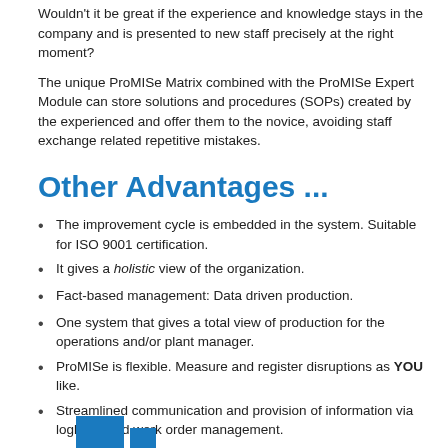Wouldn't it be great if the experience and knowledge stays in the company and is presented to new staff precisely at the right moment?
The unique ProMISe Matrix combined with the ProMISe Expert Module can store solutions and procedures (SOPs) created by the experienced and offer them to the novice, avoiding staff exchange related repetitive mistakes.
Other Advantages ...
The improvement cycle is embedded in the system. Suitable for ISO 9001 certification.
It gives a holistic view of the organization.
Fact-based management: Data driven production.
One system that gives a total view of production for the operations and/or plant manager.
ProMISe is flexible. Measure and register disruptions as YOU like.
Streamlined communication and provision of information via logbook and work order management.
It encourages teamwork and social interaction.
ProMISe is very user friendly.
The system is quite accessible for the use of process optimization. Automation is not required for measuring disruptions.